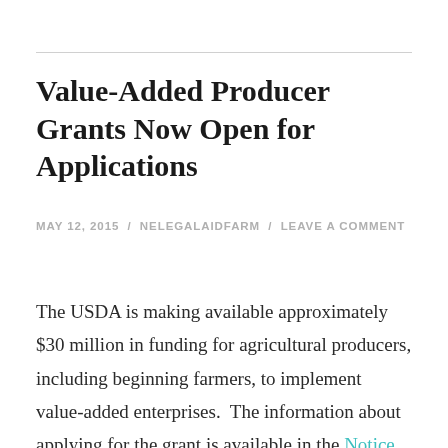Value-Added Producer Grants Now Open for Applications
MAY 12, 2015 / NELEGALAIDFARM / LEAVE A COMMENT
The USDA is making available approximately $30 million in funding for agricultural producers, including beginning farmers, to implement value-added enterprises.  The information about applying for the grant is available in the Notice of Funding